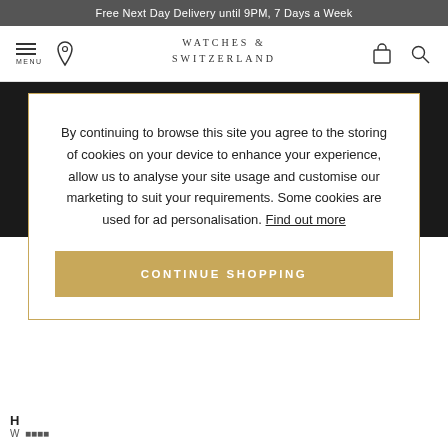Free Next Day Delivery until 9PM, 7 Days a Week
[Figure (logo): Watches of Switzerland brand logo and navigation bar with menu, location, bag and search icons]
[Figure (photo): Dark background showing a luxury watch movement/oscillator detail in black and white]
By continuing to browse this site you agree to the storing of cookies on your device to enhance your experience, allow us to analyse your site usage and customise our marketing to suit your requirements. Some cookies are used for ad personalisation. Find out more
CONTINUE SHOPPING